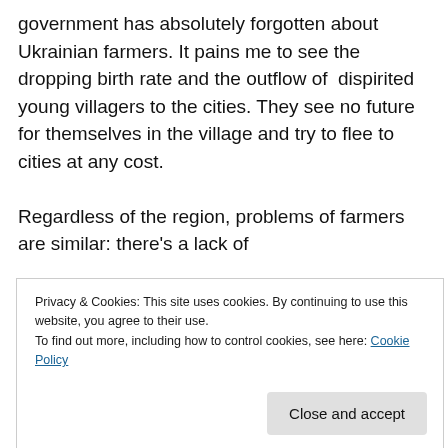government has absolutely forgotten about Ukrainian farmers. It pains me to see the dropping birth rate and the outflow of dispirited young villagers to the cities. They see no future for themselves in the village and try to flee to cities at any cost.

Regardless of the region, problems of farmers are similar: there's a lack of
Privacy & Cookies: This site uses cookies. By continuing to use this website, you agree to their use. To find out more, including how to control cookies, see here: Cookie Policy
Close and accept